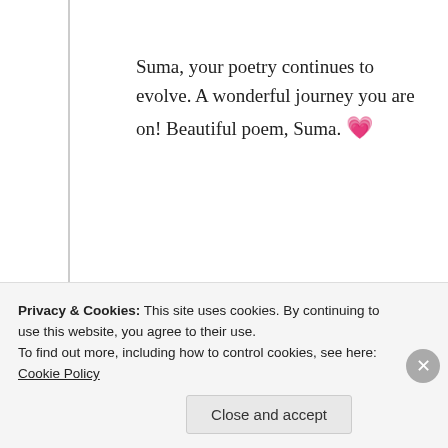Suma, your poetry continues to evolve. A wonderful journey you are on! Beautiful poem, Suma. 💗
★ Liked by 2 people
Log in to Reply
Suma Reddy
Privacy & Cookies: This site uses cookies. By continuing to use this website, you agree to their use. To find out more, including how to control cookies, see here: Cookie Policy